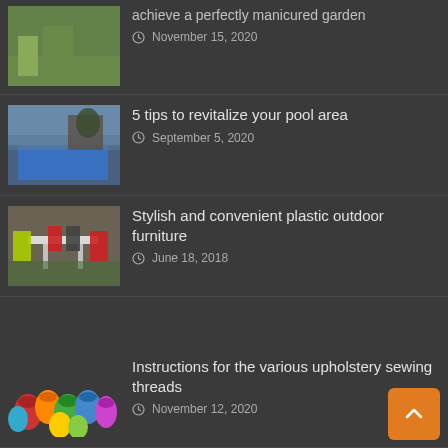achieve a perfectly manicured garden — November 15, 2020
5 tips to revitalize your pool area — September 5, 2020
Stylish and convenient plastic outdoor furniture — June 18, 2018
Instructions for the various upholstery sewing threads — November 12, 2020
How to make a couch from a double mattress — August 26, 2020
Use different kinds of stone garden